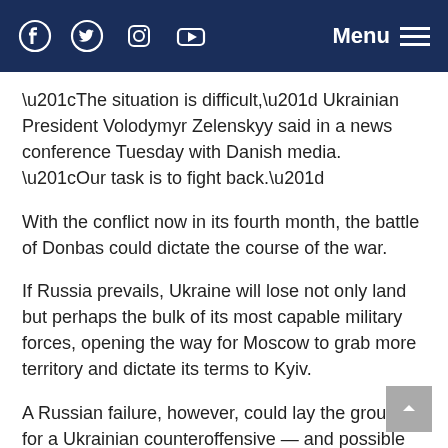Social media icons (Facebook, Twitter, Instagram, YouTube) and Menu
“The situation is difficult,” Ukrainian President Volodymyr Zelenskyy said in a news conference Tuesday with Danish media. “Our task is to fight back.”
With the conflict now in its fourth month, the battle of Donbas could dictate the course of the war.
If Russia prevails, Ukraine will lose not only land but perhaps the bulk of its most capable military forces, opening the way for Moscow to grab more territory and dictate its terms to Kyiv.
A Russian failure, however, could lay the grounds for a Ukrainian counteroffensive — and possible political upheaval for the Kremlin.